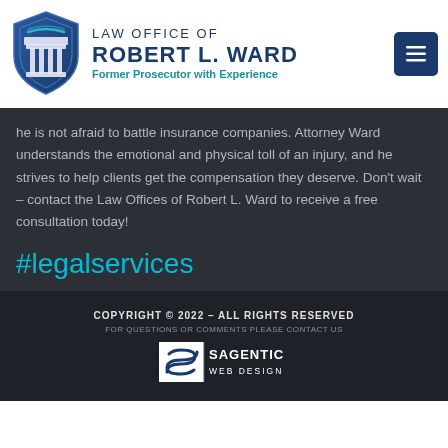[Figure (logo): Law Office of Robert L. Ward logo with blue shield icon, firm name, and tagline 'Former Prosecutor with Experience'. Navigation menu button on right.]
he is not afraid to battle insurance companies. Attorney Ward understands the emotional and physical toll of an injury, and he strives to help clients get the compensation they deserve. Don't wait – contact the Law Offices of Robert L. Ward to receive a free consultation today!
#legalservices
COPYRIGHT © 2022 – ALL RIGHTS RESERVED
FOR QUESTIONS OR COMMENTS PLEASE CONTACT US
[Figure (logo): Sagentic Web Design logo]